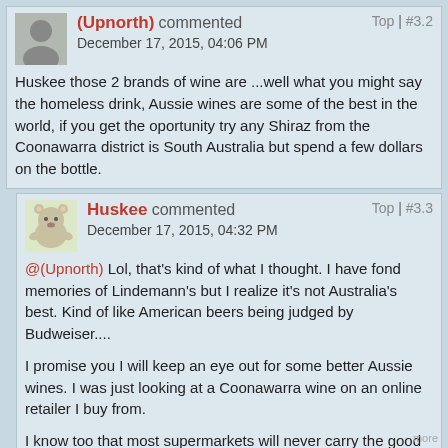(Upnorth) commented  Top | #3.2  December 17, 2015, 04:06 PM
Huskee those 2 brands of wine are ...well what you might say the homeless drink, Aussie wines are some of the best in the world, if you get the oportunity try any Shiraz from the Coonawarra district is South Australia but spend a few dollars on the bottle.
Huskee commented  Top | #3.3  December 17, 2015, 04:32 PM
@(Upnorth) Lol, that's kind of what I thought. I have fond memories of Lindemann's but I realize it's not Australia's best. Kind of like American beers being judged by Budweiser....
I promise you I will keep an eye out for some better Aussie wines. I was just looking at a Coonawarra wine on an online retailer I buy from.
I know too that most supermarkets will never carry the good stuff, and that probably goes for American wines on Australia's shelves as well. Michigan USA makes some fantastic Riesling and Chardonnay, and Napa Valley in California is known for its and Cabernet Sauvignon, and Oregon for it's Pinot Noir. (To name a few)